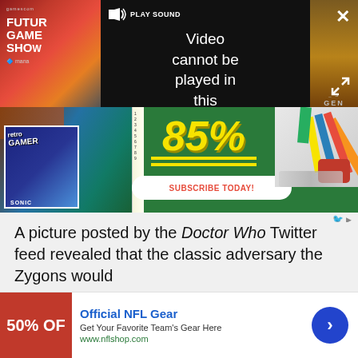[Figure (screenshot): Video player with error message: 'Video cannot be played in this browser. (Error Cod...' with PLAY SOUND button, Future Games Show thumbnail on left, alien/GEN game thumbnail on right. Dark background with close and expand buttons.]
[Figure (screenshot): Advertisement banner for a magazine subscription showing '85%' in yellow handwritten text on green background with 'SUBSCRIBE TODAY!' button and Retro Gamer magazine covers with school supplies.]
A picture posted by the Doctor Who Twitter feed revealed that the classic adversary the Zygons would
[Figure (screenshot): Advertisement footer for Official NFL Gear showing '50% OFF' in red, title 'Official NFL Gear', description 'Get Your Favorite Team's Gear Here', URL 'www.nflshop.com', and a blue arrow button.]